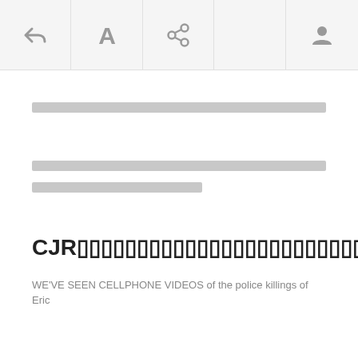[Figure (screenshot): Mobile app toolbar with icons: reply/back arrow, letter A (font), share/links icon, empty slot, and person/profile icon. Gray background with dividers.]
[redacted line — full width]
[redacted line — full width]
[redacted line — partial width]
CJR[redacted characters]
WE'VE SEEN CELLPHONE VIDEOS of the police killings of Eric